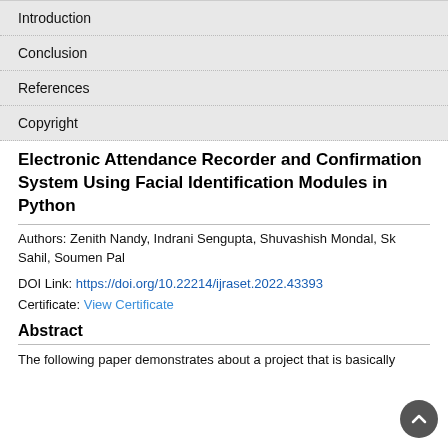Introduction
Conclusion
References
Copyright
Electronic Attendance Recorder and Confirmation System Using Facial Identification Modules in Python
Authors: Zenith Nandy, Indrani Sengupta, Shuvashish Mondal, Sk Sahil, Soumen Pal
DOI Link: https://doi.org/10.22214/ijraset.2022.43393
Certificate: View Certificate
Abstract
The following paper demonstrates about a project that is basically